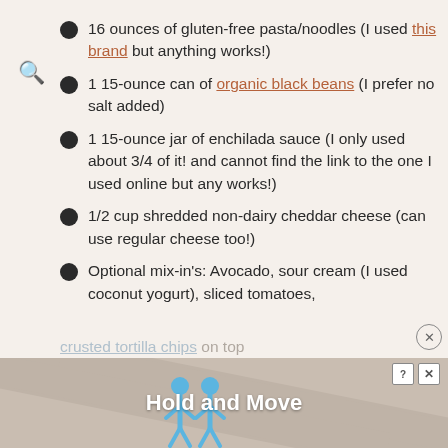16 ounces of gluten-free pasta/noodles (I used this brand but anything works!)
1 15-ounce can of organic black beans (I prefer no salt added)
1 15-ounce jar of enchilada sauce (I only used about 3/4 of it! and cannot find the link to the one I used online but any works!)
1/2 cup shredded non-dairy cheddar cheese (can use regular cheese too!)
Optional mix-in's: Avocado, sour cream (I used coconut yogurt), sliced tomatoes,
crusted tortilla chips on top
[Figure (screenshot): Advertisement banner showing 'Hold and Move' with two blue cartoon figures and help/close icons]